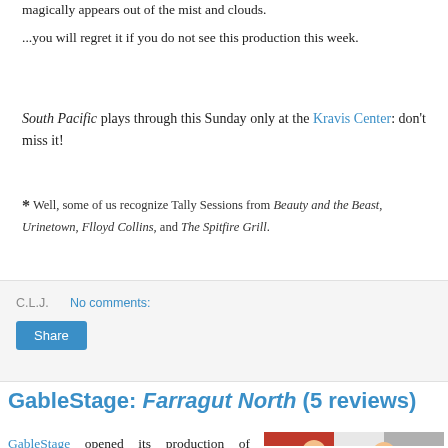magically appears out of the mist and clouds.
...you will regret it if you do not see this production this week.
South Pacific plays through this Sunday only at the Kravis Center: don't miss it!
* Well, some of us recognize Tally Sessions from Beauty and the Beast, Urinetown, Flloyd Collins, and The Spitfire Grill.
C.L.J.   No comments:
Share
GableStage: Farragut North (5 reviews)
GableStage opened its production of Farragut North by Beau Williman on
[Figure (photo): Photo of two people, appears to be cast or crew members of GableStage production]